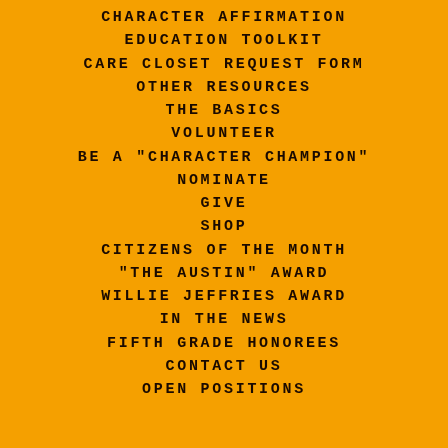CHARACTER AFFIRMATION
EDUCATION TOOLKIT
CARE CLOSET REQUEST FORM
OTHER RESOURCES
THE BASICS
VOLUNTEER
BE A "CHARACTER CHAMPION"
NOMINATE
GIVE
SHOP
CITIZENS OF THE MONTH
"THE AUSTIN" AWARD
WILLIE JEFFRIES AWARD
IN THE NEWS
FIFTH GRADE HONOREES
CONTACT US
OPEN POSITIONS